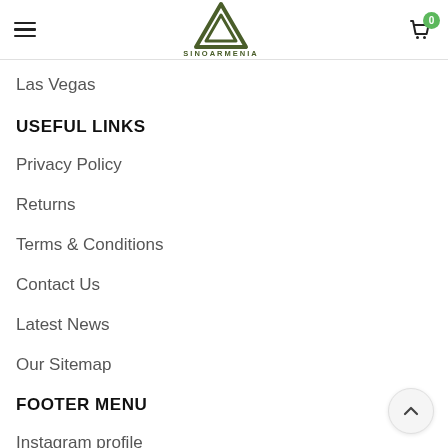SinoArmenia — navigation header with logo, hamburger menu, and cart
Las Vegas
USEFUL LINKS
Privacy Policy
Returns
Terms & Conditions
Contact Us
Latest News
Our Sitemap
FOOTER MENU
Instagram profile